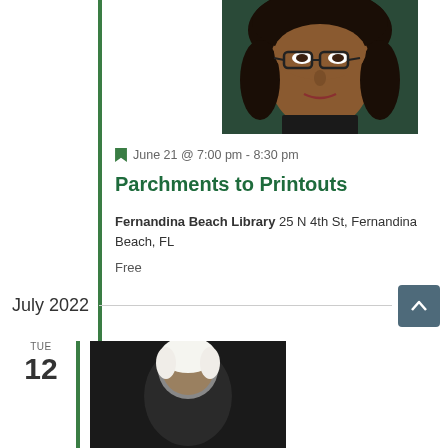[Figure (photo): Headshot of a woman with dark hair wearing glasses and a dark top, against a dark green background]
June 21 @ 7:00 pm - 8:30 pm
Parchments to Printouts
Fernandina Beach Library 25 N 4th St, Fernandina Beach, FL
Free
July 2022
[Figure (photo): Partial headshot of a person against a dark background, visible from approximately chin up]